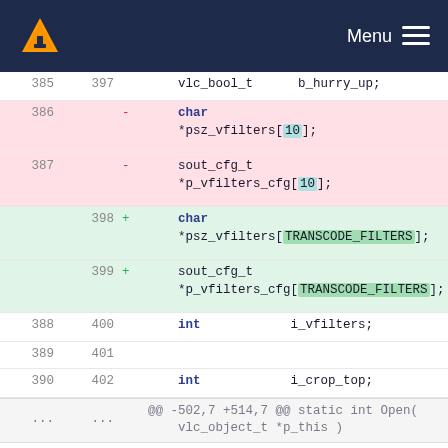VLC Menu
Code diff showing changes to array sizes from hardcoded [10] to TRANSCODE_FILTERS constant, and #if 1 changed to #if 0
| old line | new line | marker | code |
| --- | --- | --- | --- |
| 385 | 397 |  |     vlc_bool_t       b_hurry_up; |
| 386 |  | -  |     char *psz_vfilters[10]; |
| 387 |  | -  |     sout_cfg_t *p_vfilters_cfg[10]; |
|  | 398 | +  |     char *psz_vfilters[TRANSCODE_FILTERS]; |
|  | 399 | +  |     sout_cfg_t *p_vfilters_cfg[TRANSCODE_FILTERS]; |
| 388 | 400 |  |     int            i_vfilters; |
| 389 | 401 |  |  |
| 390 | 402 |  |     int            i_crop_top; |
| ... | ... |  | @@ -502,7 +514,7 @@ static int Open( vlc_object_t *p_this ) |
| 502 | 514 |  |  |
| 503 | 515 |  |     if( p_sys->i_acodec ) |
| 504 | 516 |  |     { |
| 505 |  | -  |     #if 1 |
|  | 517 | +  |     #if 0 |
| 506 | 518 |  |     if( !strncmp( (char |